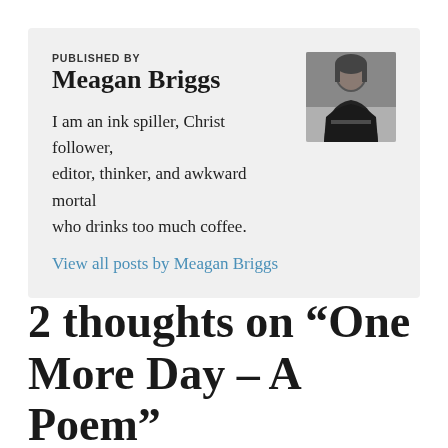PUBLISHED BY
Meagan Briggs
[Figure (photo): Black and white headshot photo of Meagan Briggs, a woman in dark clothing seated at a table]
I am an ink spiller, Christ follower, editor, thinker, and awkward mortal who drinks too much coffee.
View all posts by Meagan Briggs
2 thoughts on “One More Day – A Poem”